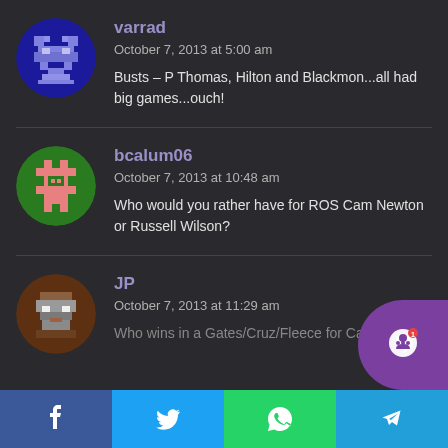[Figure (illustration): Pixel art avatar of a blue character on dark blue circular background]
varrad
October 7, 2013 at 5:00 am
Busts – P Thomas, Hilton and Blackmon...all had big games...ouch!
[Figure (illustration): Pixel art avatar of a green character on green circular background]
bcalum06
October 7, 2013 at 10:48 am
Who would you rather have for ROS Cam Newton or Russell Wilson?
[Figure (illustration): Pixel art avatar of a brown/gray character on brown circular background]
JP
October 7, 2013 at 11:29 am
Who wins in a Gates/Cruz/Fleece for Calvi...